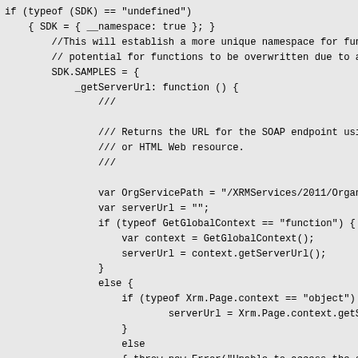if (typeof (SDK) == "undefined")
    { SDK = { __namespace: true }; }
        //This will establish a more unique namespace for fun
        // potential for functions to be overwritten due to a
        SDK.SAMPLES = {
            _getServerUrl: function () {
                ///<summary>
                /// Returns the URL for the SOAP endpoint usi
                /// or HTML Web resource.
                ///</summary>
                var OrgServicePath = "/XRMServices/2011/Organ
                var serverUrl = "";
                if (typeof GetGlobalContext == "function") {
                    var context = GetGlobalContext();
                    serverUrl = context.getServerUrl();
                }
                else {
                    if (typeof Xrm.Page.context == "object")
                            serverUrl = Xrm.Page.context.getSer
                    }
                    else
                    { throw new Error("Unable to access the s
                    }
                if (serverUrl.match(/\/$/) {
                        serverUrl = serverUrl.substring(0, se
                }
                return serverUrl + OrgServicePath;
            },
        RetrieveInstalledLanguagePacksRequest: function (
            var requestMain = ""
            requestMain += "<s:Envelope xmlns:s=\"http://
            requestMain += "  <s:Body>";